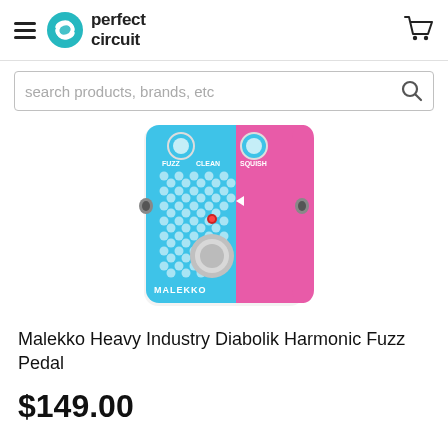perfect circuit
search products, brands, etc
[Figure (photo): Malekko Heavy Industry Diabolik Harmonic Fuzz Pedal — a blue and pink guitar effects pedal with dotted pattern, labeled FUZZ, CLEAN, SQUISH, with MALEKKO branding, viewed from above.]
Malekko Heavy Industry Diabolik Harmonic Fuzz Pedal
$149.00